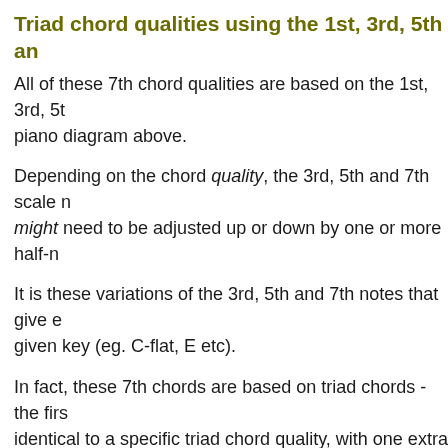Triad chord qualities using the 1st, 3rd, 5th an
All of these 7th chord qualities are based on the 1st, 3th, 5th piano diagram above.
Depending on the chord quality, the 3rd, 5th and 7th scale n might need to be adjusted up or down by one or more half-n
It is these variations of the 3rd, 5th and 7th notes that give e given key (eg. C-flat, E etc).
In fact, these 7th chords are based on triad chords - the firs identical to a specific triad chord quality, with one extra note
Suspended 7th chords - using the 2nd or 4th s
A suspended chord is known in music theory as an altered above chord qualities and modifies it in some way.
Unlike all of the above qualities, Suspended triad chords do scale (at all) to build the chord.
The 3rd...